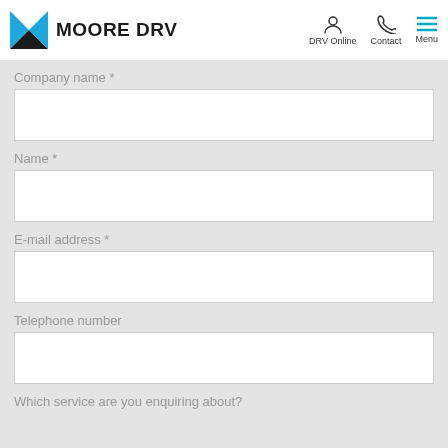MOORE DRV — DRV Online | Contact | Menu
Company name *
Name *
E-mail address *
Telephone number